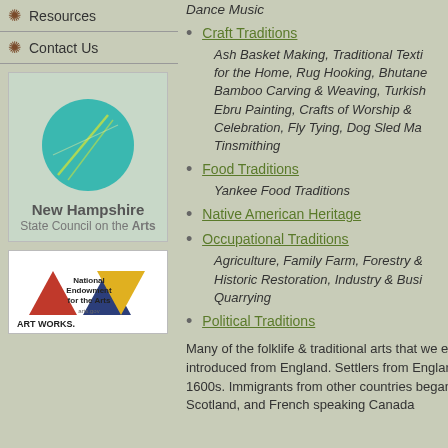Resources
Contact Us
[Figure (logo): New Hampshire State Council on the Arts logo with teal circle graphic]
[Figure (logo): National Endowment for the Arts - Art Works logo with colored triangles]
Dance Music
Craft Traditions
Ash Basket Making, Traditional Texti for the Home, Rug Hooking, Bhutane Bamboo Carving & Weaving, Turkish Ebru Painting, Crafts of Worship & Celebration, Fly Tying, Dog Sled Ma Tinsmithing
Food Traditions
Yankee Food Traditions
Native American Heritage
Occupational Traditions
Agriculture, Family Farm, Forestry & Historic Restoration, Industry & Busi Quarrying
Political Traditions
Many of the folklife & traditional arts that we e introduced from England. Settlers from Englan 1600s. Immigrants from other countries began Scotland, and French speaking Canada